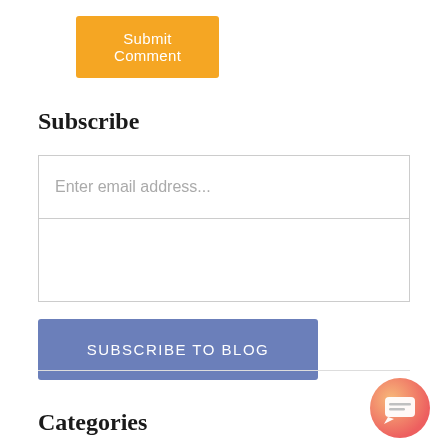Submit Comment
Subscribe
Enter email address...
SUBSCRIBE TO BLOG
Categories
[Figure (illustration): Chat bubble icon button in bottom right corner, orange-red gradient circular button with white chat icon]